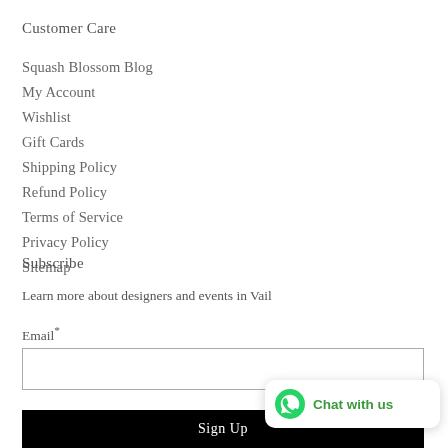Customer Care
Squash Blossom Blog
My Account
Wishlist
Gift Cards
Shipping Policy
Refund Policy
Terms of Service
Privacy Policy
Sitemap
Subscribe
Learn more about designers and events in Vail
Email*
Sign Up